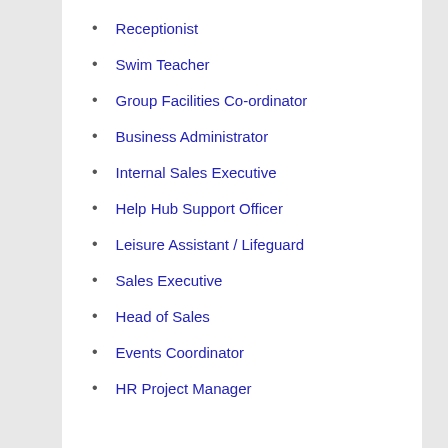Receptionist
Swim Teacher
Group Facilities Co-ordinator
Business Administrator
Internal Sales Executive
Help Hub Support Officer
Leisure Assistant / Lifeguard
Sales Executive
Head of Sales
Events Coordinator
HR Project Manager